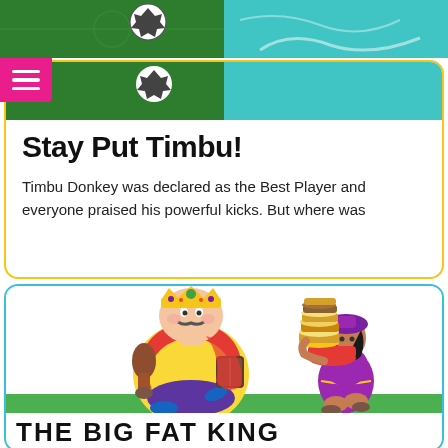[Figure (illustration): Top strip showing a green soccer field with soccer ball on the left, and a teal/turquoise background on the right]
[Figure (illustration): Pink/magenta hamburger menu icon (three horizontal lines) in top-left corner]
Stay Put Timbu!
Timbu Donkey was declared as the Best Player and everyone praised his powerful kicks. But where was
[Figure (illustration): Cartoon illustration of a fat king wearing a gold crown, red cape, yellow outfit, holding a turkey leg and a book, running. A girl in purple sari carrying a large stack of food items runs beside him. Green ground strip at bottom.]
THE BIG FAT KING